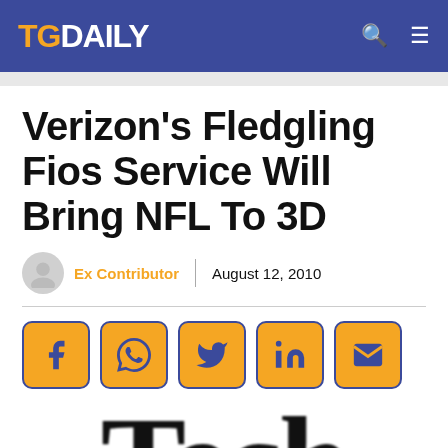TGDaily
Verizon's Fledgling Fios Service Will Bring NFL To 3D
Ex Contributor | August 12, 2010
[Figure (other): Social sharing buttons: Facebook, WhatsApp, Twitter, LinkedIn, Email]
[Figure (other): Partial view of large bold serif text reading 'Tech']